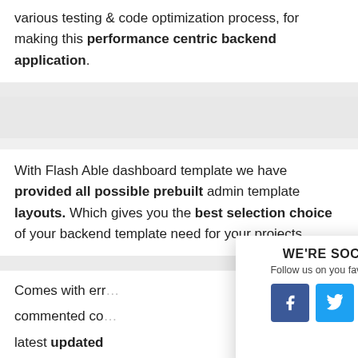various testing & code optimization process, for making this performance centric backend application.
[Figure (other): Advertisement/empty banner block]
With Flash Able dashboard template we have provided all possible prebuilt admin template layouts. Which gives you the best selection choice of your backend template need for your projects.
[Figure (other): Social sharing modal popup: WE'RE SOCIAL! Follow us on you favorite site, with Facebook, Twitter, Tumblr icons]
Comes with err... commented co... latest updated